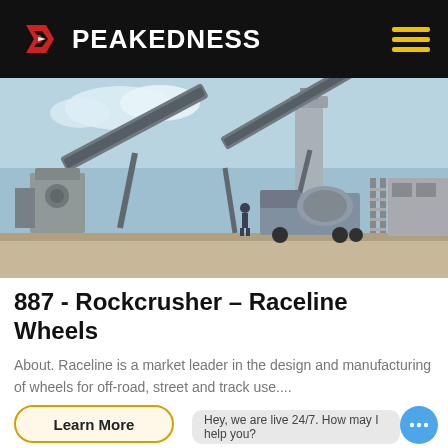PEAKEDNESS
[Figure (photo): Industrial concrete batching plant with conveyor belts, silos, mixer truck, and workers on site]
887 - Rockcrusher – Raceline Wheels
About. Raceline is a market leader in the design and manufacturing of wheels for off-road, street and track use....
Learn More
Hey, we are live 24/7. How may I help you?